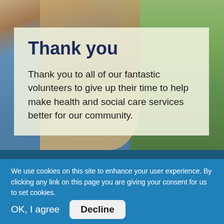[Figure (photo): Background photo of a person with blonde hair wearing a blue top, with green grass/outdoor background]
Thank you
Thank you to all of our fantastic volunteers to give up their time to help make health and social care services better for our community.
We use cookies on this site to enhance your user experience. By clicking any link on this page you are giving your consent for us to set cookies.
Give me more info
OK, I agree  Decline